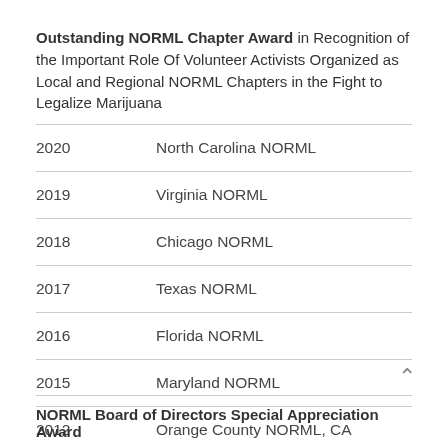Outstanding NORML Chapter Award in Recognition of the Important Role Of Volunteer Activists Organized as Local and Regional NORML Chapters in the Fight to Legalize Marijuana
| Year | Chapter |
| --- | --- |
| 2020 | North Carolina NORML |
| 2019 | Virginia NORML |
| 2018 | Chicago NORML |
| 2017 | Texas NORML |
| 2016 | Florida NORML |
| 2015 | Maryland NORML |
| 2012 | Orange County NORML, CA |
NORML Board of Directors Special Appreciation Award